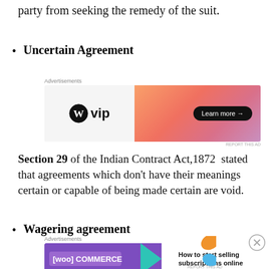party from seeking the remedy of the suit.
Uncertain Agreement
[Figure (other): WordPress VIP advertisement banner with orange-pink gradient and Learn more button]
Section 29 of the Indian Contract Act,1872 stated that agreements which don't have their meanings certain or capable of being made certain are void.
Wagering agreement
[Figure (other): WooCommerce advertisement banner: How to start selling subscriptions online]